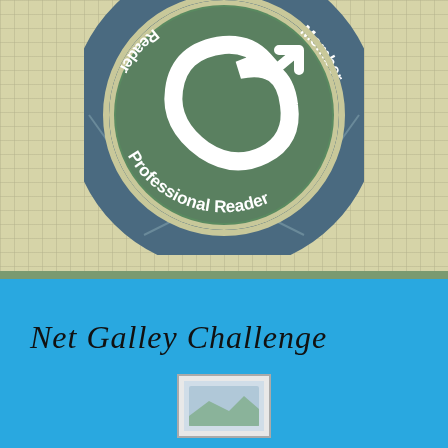[Figure (logo): Circular badge/logo for 'Professional Reader Member' with an e-reader icon in the center. The outer ring is dark blue-grey with text 'Professional Reader' at the bottom and 'Member' at the upper right. The center has a green circle with a white stylized 'e' arrow logo. The badge sits on a grid-patterned beige background.]
Net Galley Challenge
[Figure (photo): Small partially visible image at bottom center, appears to be a small thumbnail photo.]